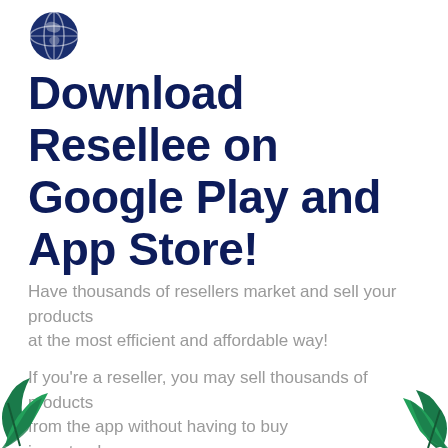[Figure (illustration): Globe/earth icon in dark navy blue, positioned top left]
Download Resellee on Google Play and App Store!
Have thousands of resellers market and sell your products at the most efficient and affordable way!
If you're a reseller, you may sell thousands of products from the app without having to buy inventory!
[Figure (illustration): Decorative green leaf/plant illustration at bottom left corner]
[Figure (illustration): Decorative green leaf/plant illustration at bottom right corner]